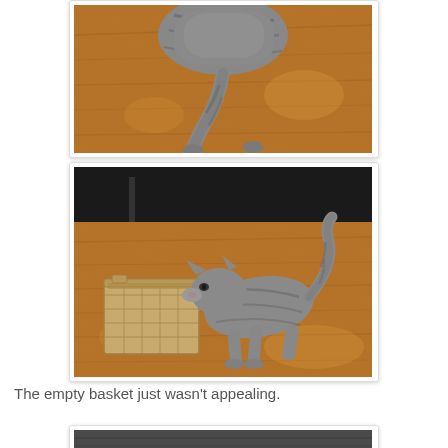[Figure (photo): Top portion of a gray tabby cat's back and tail viewed from above, standing on brown hardwood floor. Only the rear half of the cat is visible.]
[Figure (photo): A gray tabby cat walking away from a small woven basket on a hardwood floor. A black leather chair is visible in the background. The cat appears to be ignoring the empty basket.]
The empty basket just wasn't appealing.
[Figure (photo): Partial view of another photo at the bottom of the page, cut off.]